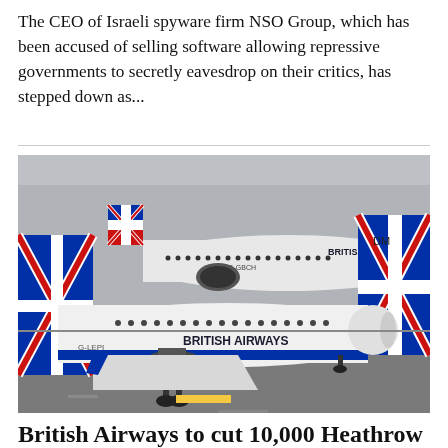The CEO of Israeli spyware firm NSO Group, which has been accused of selling software allowing repressive governments to secretly eavesdrop on their critics, has stepped down as...
[Figure (photo): Two British Airways aircraft (white with Union Jack tail livery) on an airport tarmac, likely Heathrow. The foreground plane is an Airbus A320 with 'BRITISH AIRWAYS' written on the fuselage. A second British Airways plane is visible in the background. Both feature the distinctive red/white/blue Union Jack tail design.]
British Airways to cut 10,000 Heathrow flights